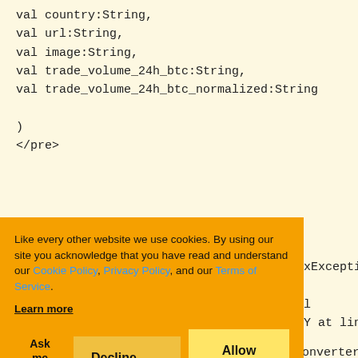val country:String,
val url:String,
val image:String,
val trade_volume_24h_btc:String,
val trade_volume_24h_btc_normalized:String

)</pre>
xException:

Y at line 1

TypeAdapterFac

bodyConverter.co

retrofit2.converter.gson.GsonResponseBodyConverter.co
[Figure (screenshot): Cookie consent banner with orange background. Text reads: 'Like every other website we use cookies. By using our site you acknowledge that you have read and understand our Cookie Policy, Privacy Policy, and our Terms of Service. Learn more'. Buttons: 'Ask me later', 'Decline', 'Allow cookies'.]